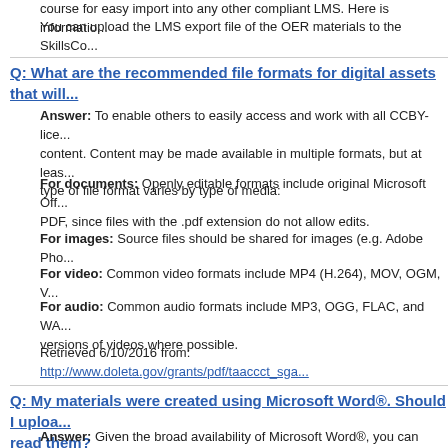course for easy import into any other compliant LMS. Here is informatio...
You can upload the LMS export file of the OER materials to the SkillsCo...
Q: What are the recommended file formats for digital assets that will...
Answer: To enable others to easily access and work with all CCBY-lice... content. Content may be made available in multiple formats, but at leas... type of file format varies by type of media:
For documents: Openly editable formats include original Microsoft Off... PDF, since files with the .pdf extension do not allow edits.
For images: Source files should be shared for images (e.g. Adobe Pho...
For video: Common video formats include MP4 (H.264), MOV, OGM, V...
For audio: Common audio formats include MP3, OGG, FLAC, and WA... versions of videos where possible.
Retrieved 6/10/2016 from: http://www.doleta.gov/grants/pdf/taaccct_sga...
Q: My materials were created using Microsoft Word®. Should I uploa... read them?
Answer: Given the broad availability of Microsoft Word®, you can uplo...